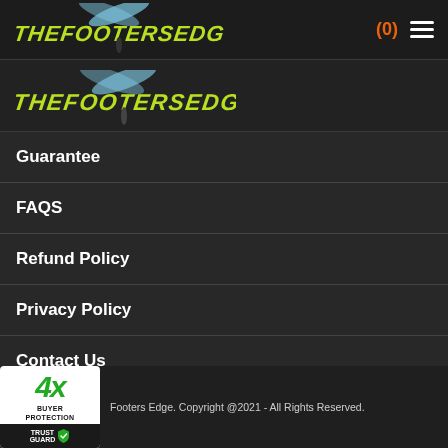[Figure (logo): TheFootersEdge.com logo with stylized text and dragonfly insect graphic in top navigation bar]
(0)
[Figure (logo): TheFootersEdge.com logo repeated in sidebar/menu area with dragonfly graphic]
Guarantee
FAQS
Refund Policy
Privacy Policy
Contact Us
[Figure (logo): Trust Guard 4x Buyer Protection badge with green shield logo]
Footers Edge. Copyright @2021 - All Rights Reserved.